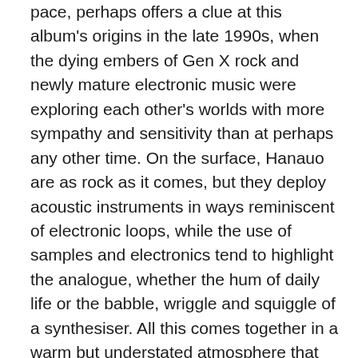pace, perhaps offers a clue at this album's origins in the late 1990s, when the dying embers of Gen X rock and newly mature electronic music were exploring each other's worlds with more sympathy and sensitivity than at perhaps any other time. On the surface, Hanauo are as rock as it comes, but they deploy acoustic instruments in ways reminiscent of electronic loops, while the use of samples and electronics tend to highlight the analogue, whether the hum of daily life or the babble, wriggle and squiggle of a synthesiser. All this comes together in a warm but understated atmosphere that taps into similar psychic ley lines to artists like Tortoise, the Beta Band and Mice Parade (whose Adam Pierce was originally lined up to be this album's producer), not to mention the K Records vibe that for a long time around the turn of the millennium kept within finger's reach of a segment of the Japanese indie scene.